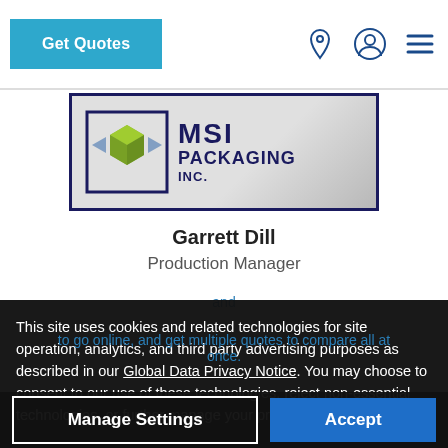[Figure (screenshot): Website navigation bar with 'Get Quotes' blue button on the left, and location pin, user/profile, and hamburger menu icons on the right in dark blue]
[Figure (logo): MSI Packaging Inc. logo with a gray box graphic containing green and blue folded arrow shapes on the left, and 'MSI PACKAGING INC.' text on the right on a gray gradient background]
Garrett Dill
Production Manager
This site uses cookies and related technologies for site operation, analytics, and third party advertising purposes as described in our Global Data Privacy Notice. You may choose to consent to our use of these technologies, reject non-essential technologies, or further manage your preferences.
[Figure (screenshot): Cookie consent overlay with 'Manage Settings' outlined button and 'Accept' blue button]